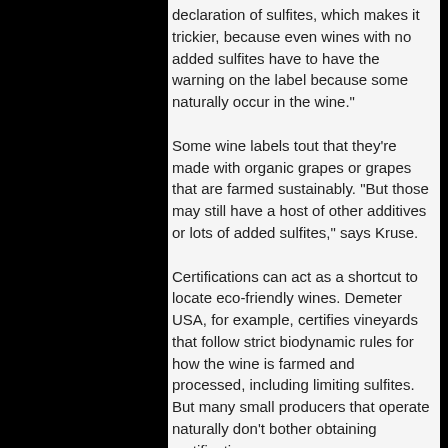declaration of sulfites, which makes it trickier, because even wines with no added sulfites have to have the warning on the label because some naturally occur in the wine."
Some wine labels tout that they're made with organic grapes or grapes that are farmed sustainably. “But those may still have a host of other additives or lots of added sulfites,” says Kruse.
Certifications can act as a shortcut to locate eco-friendly wines. Demeter USA, for example, certifies vineyards that follow strict biodynamic rules for how the wine is farmed and processed, including limiting sulfites. But many small producers that operate naturally don’t bother obtaining certification.
Independent wine shops with knowledgeable employees can help consumers choose wisely.